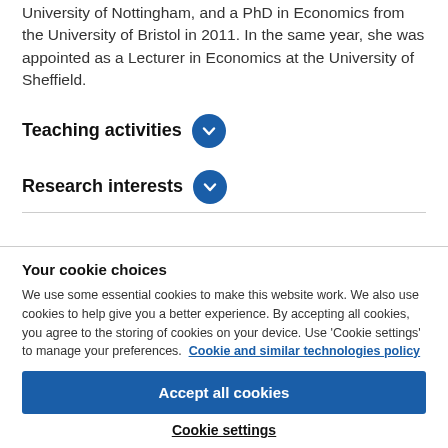University of Nottingham, and a PhD in Economics from the University of Bristol in 2011. In the same year, she was appointed as a Lecturer in Economics at the University of Sheffield.
Teaching activities
Research interests
Your cookie choices
We use some essential cookies to make this website work. We also use cookies to help give you a better experience. By accepting all cookies, you agree to the storing of cookies on your device. Use 'Cookie settings' to manage your preferences. Cookie and similar technologies policy
Accept all cookies
Cookie settings